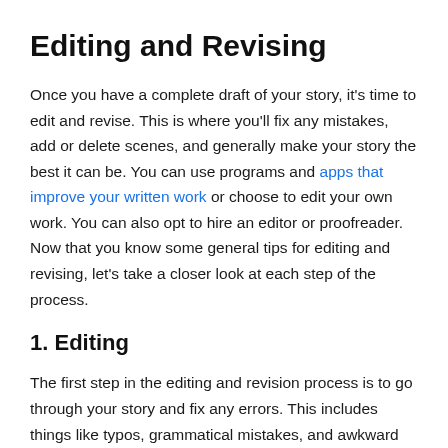Editing and Revising
Once you have a complete draft of your story, it's time to edit and revise. This is where you'll fix any mistakes, add or delete scenes, and generally make your story the best it can be. You can use programs and apps that improve your written work or choose to edit your own work. You can also opt to hire an editor or proofreader. Now that you know some general tips for editing and revising, let's take a closer look at each step of the process.
1. Editing
The first step in the editing and revision process is to go through your story and fix any errors. This includes things like typos, grammatical mistakes, and awkward phrasing. It's